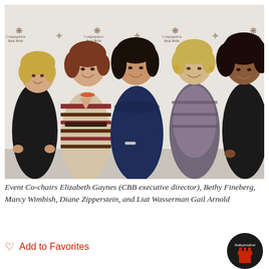[Figure (photo): Five women standing together smiling in front of a Congregation Bnai Brith step-and-repeat banner backdrop. From left to right: a woman in a black top with short blonde hair, a woman in a striped knit dress with auburn hair, a woman in a navy blue lace dress with dark hair, a woman in a grey patterned outfit with blonde hair, and a woman in a black jacket with curly dark hair.]
Event Co-chairs Elizabeth Gaynes (CBB executive director), Bethy Fineberg, Marcy Wimbish, Diane Zipperstein, and Liat Wasserman Gail Arnold
Add to Favorites